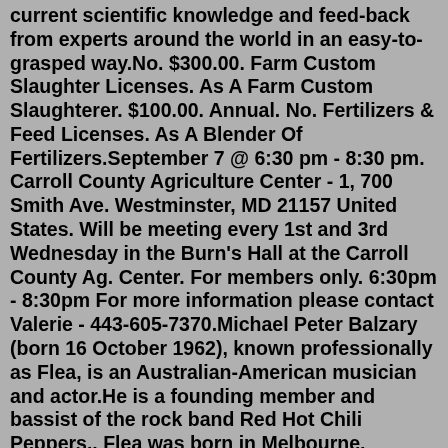current scientific knowledge and feed-back from experts around the world in an easy-to-grasped way.No. $300.00. Farm Custom Slaughter Licenses. As A Farm Custom Slaughterer. $100.00. Annual. No. Fertilizers & Feed Licenses. As A Blender Of Fertilizers.September 7 @ 6:30 pm - 8:30 pm. Carroll County Agriculture Center - 1, 700 Smith Ave. Westminster, MD 21157 United States. Will be meeting every 1st and 3rd Wednesday in the Burn's Hall at the Carroll County Ag. Center. For members only. 6:30pm - 8:30pm For more information please contact Valerie - 443-605-7370.Michael Peter Balzary (born 16 October 1962), known professionally as Flea, is an Australian-American musician and actor.He is a founding member and bassist of the rock band Red Hot Chili Peppers.. Flea was born in Melbourne, Victoria; his family moved to Rye, New York, when he was four.After his parents divorced, Flea spent his childhood in America and Australia, before settling in California.Siphonaptera - Fleas The order Siphonaptera includes fleas, small flightless...